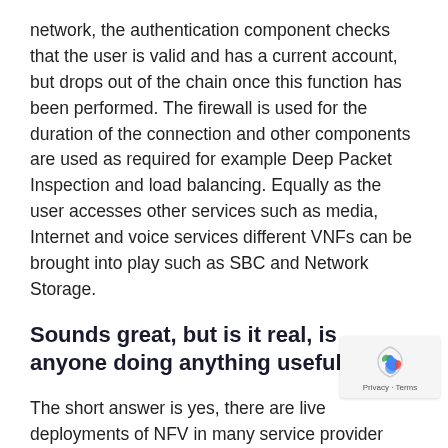network, the authentication component checks that the user is valid and has a current account, but drops out of the chain once this function has been performed. The firewall is used for the duration of the connection and other components are used as required for example Deep Packet Inspection and load balancing. Equally as the user accesses other services such as media, Internet and voice services different VNFs can be brought into play such as SBC and Network Storage.
Sounds great, but is it real, is anyone doing anything useful?
The short answer is yes, there are live deployments of NFV in many service provider